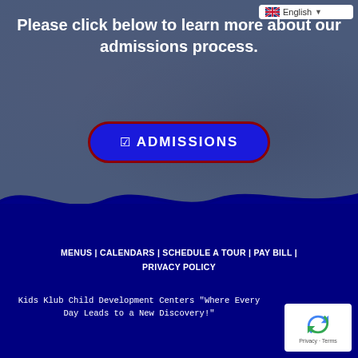English (language selector)
Please click below to learn more about our admissions process.
☑ ADMISSIONS
MENUS | CALENDARS | SCHEDULE A TOUR | PAY BILL | PRIVACY POLICY
Kids Klub Child Development Centers "Where Every Day Leads to a New Discovery!"
[Figure (logo): reCAPTCHA badge with recycling-style arrow logo and Privacy - Terms text]